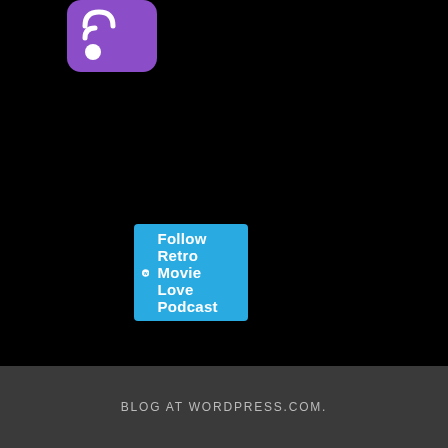[Figure (logo): Purple RSS feed icon with white WiFi-style signal bars]
[Figure (logo): Cyan/blue button with WordPress logo and text 'Follow Retro Movie Love Podcast']
[Figure (logo): Black rounded rectangle button with Apple logo and text 'Subscribe on iTunes']
BLOG AT WORDPRESS.COM.